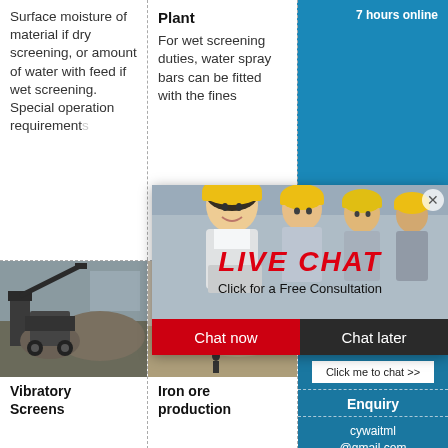Surface moisture of material if dry screening, or amount of water with feed if wet screening. Special operation requirements
Plant
For wet screening duties, water spray bars can be fitted with the fines
Screening : Pit Quarry
11/10/2019 OPERATING PARAMETERS. Maximum screening
[Figure (photo): Live Chat popup overlay showing workers in hard hats with LIVE CHAT text and Chat now / Chat later buttons, plus smiley face with headset on blue sidebar]
[Figure (photo): Mining/quarry site with machinery and conveyor equipment]
Vibratory Screens
[Figure (photo): Iron ore production plant with industrial equipment and machinery]
Iron ore production
7 hours online
Click me to chat >>
Enquiry
cywaitml@gmail.com